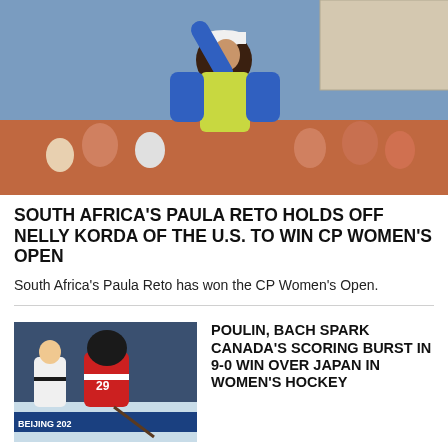[Figure (photo): A female golfer in a blue long-sleeve shirt and yellow top raises her fist in celebration while wearing a white cap, with a crowd in the background.]
SOUTH AFRICA'S PAULA RETO HOLDS OFF NELLY KORDA OF THE U.S. TO WIN CP WOMEN'S OPEN
South Africa's Paula Reto has won the CP Women's Open.
[Figure (photo): A women's hockey player wearing number 29 in a red and white Canada uniform stands on the ice with a referee nearby, with 'BEIJING 202' visible in the background.]
POULIN, BACH SPARK CANADA'S SCORING BURST IN 9-0 WIN OVER JAPAN IN WOMEN'S HOCKEY